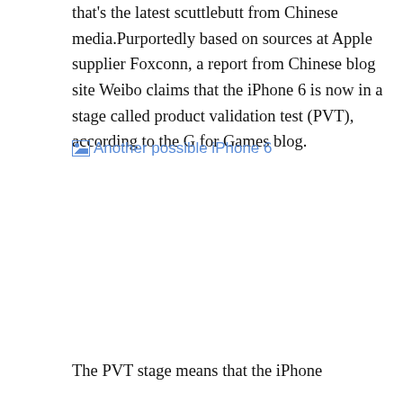that's the latest scuttlebutt from Chinese media.Purportedly based on sources at Apple supplier Foxconn, a report from Chinese blog site Weibo claims that the iPhone 6 is now in a stage called product validation test (PVT), according to the G for Games blog.
[Figure (photo): Broken image placeholder labeled 'Another possible iPhone 6']
The PVT stage means that the iPhone